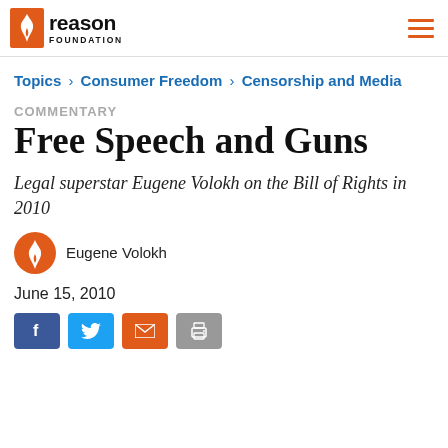Reason Foundation
Topics › Consumer Freedom › Censorship and Media
COMMENTARY
Free Speech and Guns
Legal superstar Eugene Volokh on the Bill of Rights in 2010
Eugene Volokh
June 15, 2010